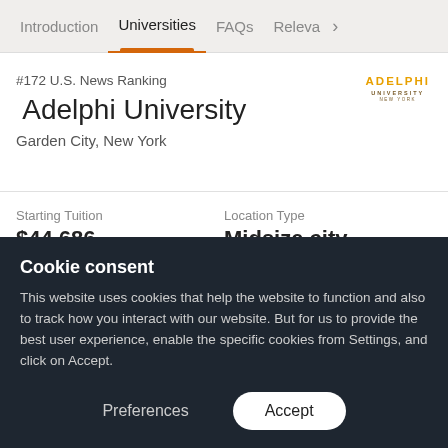Introduction | Universities | FAQs | Releva >
#172 U.S. News Ranking
Adelphi University
Garden City, New York
[Figure (logo): Adelphi University logo in orange text]
| Label | Value |
| --- | --- |
| Starting Tuition | $44,686 |
| Location Type | Midsize city |
| Total Enrollment | 7,991 |
| Region | Northeast |
Cookie consent
This website uses cookies that help the website to function and also to track how you interact with our website. But for us to provide the best user experience, enable the specific cookies from Settings, and click on Accept.
Preferences | Accept